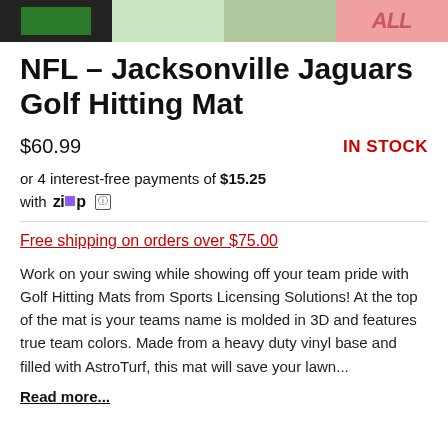[Figure (photo): Strip of four product thumbnail images showing various views of golf hitting mats]
NFL – Jacksonville Jaguars Golf Hitting Mat
$60.99
IN STOCK
or 4 interest-free payments of $15.25 with Zip ⓘ
Free shipping on orders over $75.00
Work on your swing while showing off your team pride with Golf Hitting Mats from Sports Licensing Solutions! At the top of the mat is your teams name is molded in 3D and features true team colors. Made from a heavy duty vinyl base and filled with AstroTurf, this mat will save your lawn...
Read more...